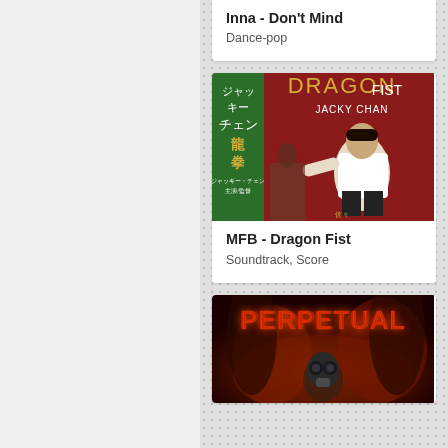Inna - Don't Mind
Dance-pop
[Figure (photo): Album cover for MFB - Dragon Fist featuring Jackie Chan in a martial arts pose, with Japanese text on a green band on the left side]
MFB - Dragon Fist
Soundtrack, Score
[Figure (photo): Album cover for Perpetual showing dark fiery imagery with the word PERPETUAL in red stylized text and a figure wearing a gas mask]